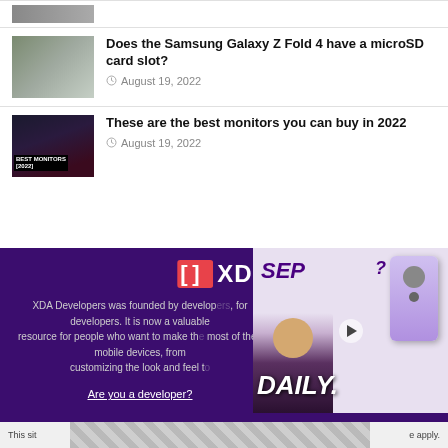[Figure (photo): Partial thumbnail of a device at top of page (cropped)]
Does the Samsung Galaxy Z Fold 4 have a microSD card slot?
August 19, 2022
[Figure (photo): Thumbnail image for best monitors article showing 'BEST MONITORS [2022]' label]
These are the best monitors you can buy in 2022
August 19, 2022
[Figure (screenshot): XDA Developers website footer banner with logo, body text about XDA being founded by developers, 'Are you a developer?' link, and a video overlay showing 'SEP' and 'DAILY' with a presenter and purple phone]
This sit... apply.